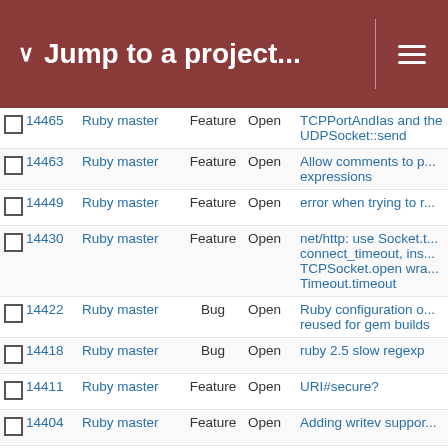Jump to a project...
14465 | Ruby master | Feature | Open | TCPPortAndIas and the UDPSocket::send
14463 | Ruby master | Feature | Open | Allow comments to p... expressions
14449 | Ruby master | Feature | Open | error when trying to r...
14430 | Ruby master | Feature | Open | net/http: use Socket.t... connect_timeout, ins... TCPSocket.open wra... Timeout.timeout
14422 | Ruby master | Bug | Open | Ruby configuration o... reused for gem builds
14418 | Ruby master | Bug | Open | ruby 2.5 slow regexp
14411 | Ruby master | Feature | Open | URI#secure?
14404 | Ruby master | Feature | Open | Adding writev suppor...
14401 | Ruby master | Feature | Open | Integer#digits...
14399 | Ruby master | Feature | Open | Add Enumerable#pro...
14393 | Ruby master | Feature | Open | Support sending file ... machine) via DRb UN
14392 | Ruby master | Feature | Open | Pipe operator
14387 | Ruby master | Bug | Open | Ruby 2.5 → Alpine Lin... SystemStackError ...
Increase Fixnum ran...